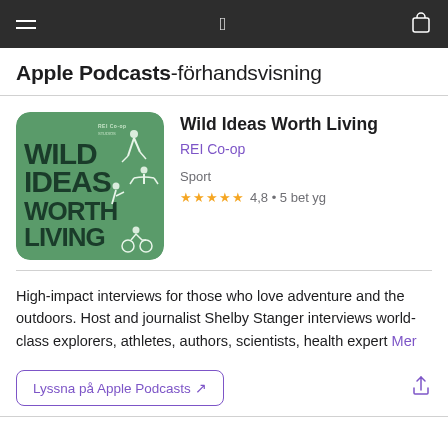Apple Podcasts-förhandsvisning
Wild Ideas Worth Living
REI Co-op
Sport
4,8 • 5 bet yg
[Figure (illustration): Podcast cover art for Wild Ideas Worth Living by REI Co-op Studios. Green background with white silhouettes of outdoor athletes and adventurers. Bold dark text reads WILD IDEAS WORTH LIVING.]
High-impact interviews for those who love adventure and the outdoors. Host and journalist Shelby Stanger interviews world-class explorers, athletes, authors, scientists, health expert Mer
Lyssna på Apple Podcasts ↗